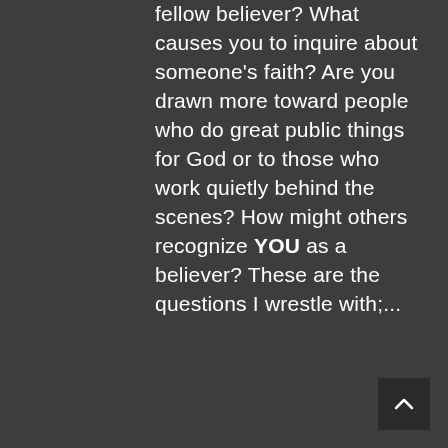fellow believer? What causes you to inquire about someone's faith? Are you drawn more toward people who do great public things for God or to those who work quietly behind the scenes? How might others recognize YOU as a believer? These are the questions I wrestle with;...